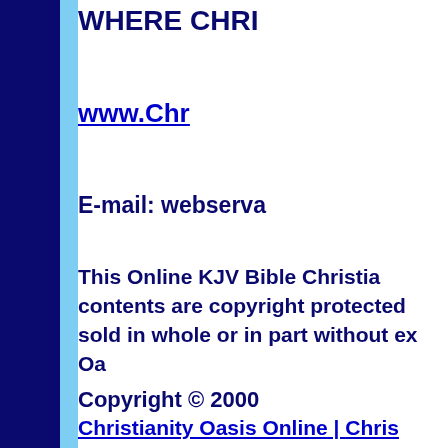WHERE CHRI...
www.Chr...
E-mail: webserva...
This Online KJV Bible Christian... contents are copyright protected... sold in whole or in part without ex... Oa...
Copyright © 2000...
Christianity Oasis Online | Chris...